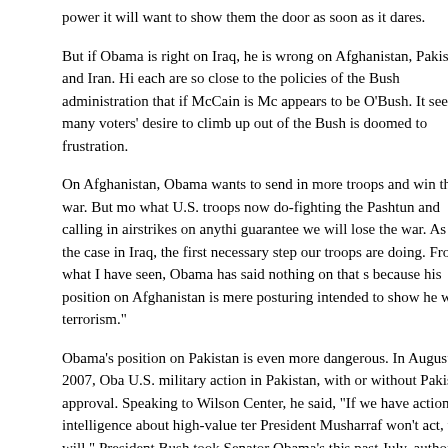power it will want to show them the door as soon as it dares.
But if Obama is right on Iraq, he is wrong on Afghanistan, Pakistan and Iran. Hi each are so close to the policies of the Bush administration that if McCain is Mc appears to be O'Bush. It seems many voters' desire to climb up out of the Bush is doomed to frustration.
On Afghanistan, Obama wants to send in more troops and win the war. But mo what U.S. troops now do-fighting the Pashtun and calling in airstrikes on anythi guarantee we will lose the war. As was the case in Iraq, the first necessary step our troops are doing. From what I have seen, Obama has said nothing on that s because his position on Afghanistan is mere posturing intended to show he will terrorism."
Obama's position on Pakistan is even more dangerous. In August of 2007, Oba U.S. military action in Pakistan, with or without Pakistani approval. Speaking to Wilson Center, he said, "If we have actionable intelligence about high-value ter President Musharraf won't act, we will." President Bush took Senator Obama's this past July, authorizing such actions.
This is an example of the classic strategic error of sacrificing a more important lesser importance. Not even outright defeat in Afghanistan would do America's damage as would the disintegration of the Pakistani state and the transformatio another stateless region. The state of Pakistan is already dangerously fragile,